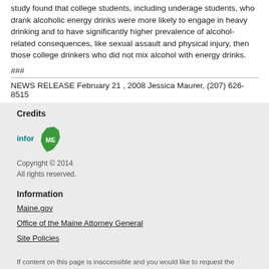study found that college students, including underage students, who drank alcoholic energy drinks were more likely to engage in heavy drinking and to have significantly higher prevalence of alcohol-related consequences, like sexual assault and physical injury, then those college drinkers who did not mix alcohol with energy drinks.
###
NEWS RELEASE February 21 , 2008 Jessica Maurer, (207) 626-8515
Credits
[Figure (logo): informME logo with green Maine state shape]
Copyright © 2014
All rights reserved.
Information
Maine.gov
Office of the Maine Attorney General
Site Policies
If content on this page is inaccessible and you would like to request the information in a different format, please contact (207) 626-8800 and it will be provided to you.